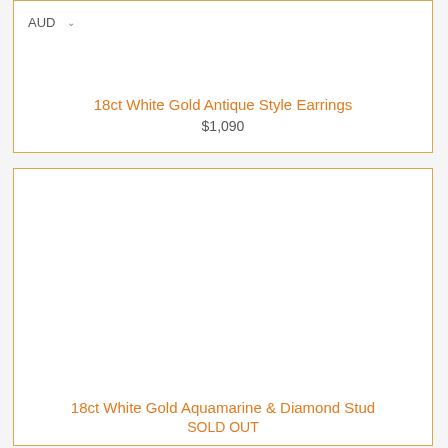AUD
18ct White Gold Antique Style Earrings
$1,090
18ct White Gold Aquamarine & Diamond Stud
SOLD OUT